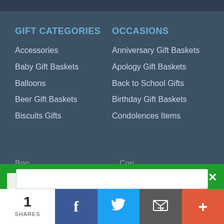GIFT CATEGORIES
Accessories
Baby Gift Baskets
Balloons
Beer Gift Baskets
Biscuits Gifts
OCCASIONS
Anniversary Gift Baskets
Apology Gift Baskets
Back to School Gifts
Birthday Gift Baskets
Condolences Items
[Figure (infographic): Green popup banner with gift basket image and text: Sign up for new blog articles & exclusive savings!]
1 SHARES